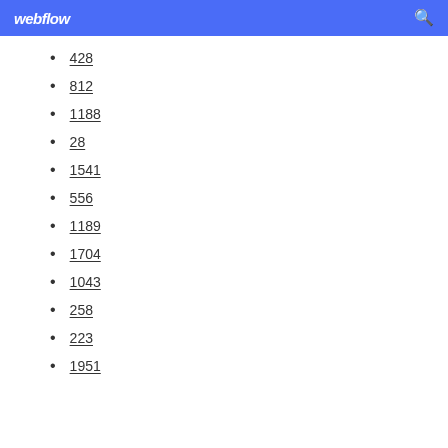webflow
428
812
1188
28
1541
556
1189
1704
1043
258
223
1951